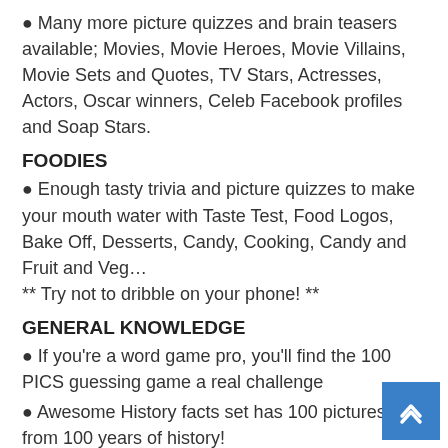Many more picture quizzes and brain teasers available; Movies, Movie Heroes, Movie Villains, Movie Sets and Quotes, TV Stars, Actresses, Actors, Oscar winners, Celeb Facebook profiles and Soap Stars.
FOODIES
Enough tasty trivia and picture quizzes to make your mouth water with Taste Test, Food Logos, Bake Off, Desserts, Candy, Cooking, Candy and Fruit and Veg… ** Try not to dribble on your phone! **
GENERAL KNOWLEDGE
If you're a word game pro, you'll find the 100 PICS guessing game a real challenge
Awesome History facts set has 100 pictures from 100 years of history!
Trivia fan? Try the following:- Science, Flags, News Headlines, Plants, School, In The Car, Texting, States,